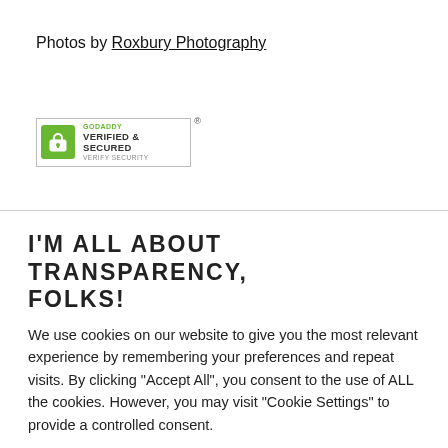Photos by Roxbury Photography
[Figure (logo): GoDaddy Verified & Secured badge with lock icon and VERIFY SECURITY text, with registered trademark symbol]
I'M ALL ABOUT TRANSPARENCY, FOLKS!
We use cookies on our website to give you the most relevant experience by remembering your preferences and repeat visits. By clicking "Accept All", you consent to the use of ALL the cookies. However, you may visit "Cookie Settings" to provide a controlled consent.
Cookie Settings | Accept All